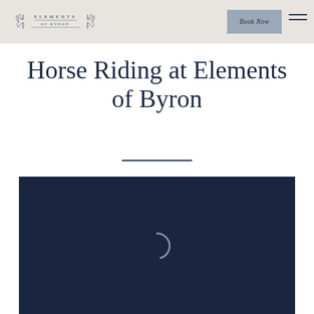ELEMENTS OF BYRON | Book Now
Horse Riding at Elements of Byron
[Figure (screenshot): Dark navy blue video embed area with a loading spinner (circular arc) centered in the frame]